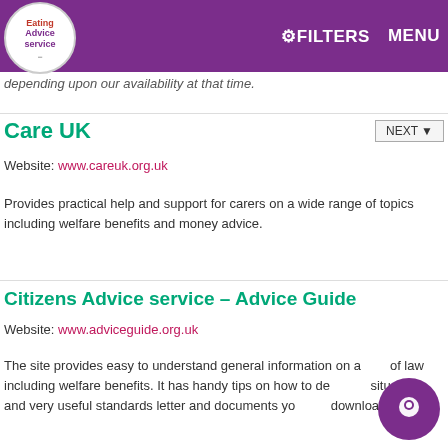Eating Advice Service — FILTERS MENU
depending upon our availability at that time.
Care UK
Website: www.careuk.org.uk
Provides practical help and support for carers on a wide range of topics including welfare benefits and money advice.
Citizens Advice service – Advice Guide
Website: www.adviceguide.org.uk
The site provides easy to understand general information on areas of law including welfare benefits. It has handy tips on how to deal with situations and very useful standards letter and documents you can download.